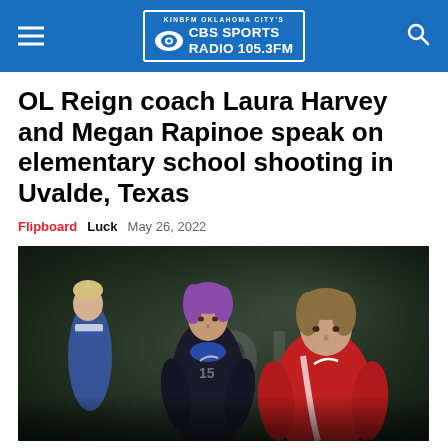KINBFM OKLAHOMA CITY'S CBS SPORTS RADIO 105.3FM
OL Reign coach Laura Harvey and Megan Rapinoe speak on elementary school shooting in Uvalde, Texas
Flipboard   Luck   May 26, 2022
[Figure (photo): Two women on a soccer field. A woman with purple hair wearing a dark athletic jacket (Megan Rapinoe) stands in the foreground center, and a woman in a red jacket (Laura Harvey) stands to the right. A third woman in blue is partially visible in the background on the left.]